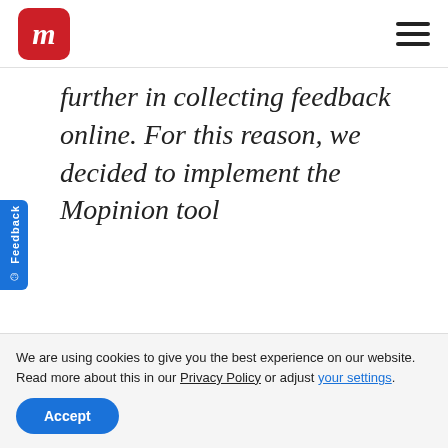[Figure (logo): Mopinion logo: red rounded square with white italic 'm']
further in collecting feedback online. For this reason, we decided to implement the Mopinion tool
Nicolas Haese, Customer
We are using cookies to give you the best experience on our website.
Read more about this in our Privacy Policy or adjust your settings.
Accept